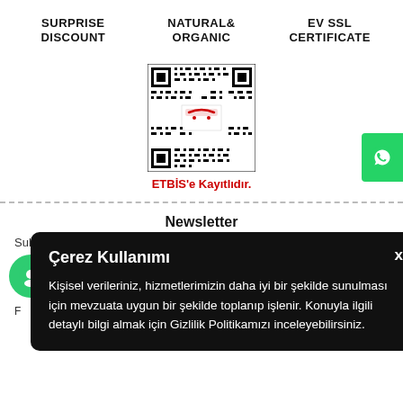SURPRISE DISCOUNT
NATURAL& ORGANIC
EV SSL CERTIFICATE
[Figure (other): QR code with ETBİS logo in center]
ETBİS'e Kayıtlıdır.
Newsletter
Subcribe no
Enter your email ad
Çerez Kullanımı
Kişisel verileriniz, hizmetlerimizin daha iyi bir şekilde sunulması için mevzuata uygun bir şekilde toplanıp işlenir. Konuyla ilgili detaylı bilgi almak için Gizlilik Politikamızı inceleyebilirsiniz.
F